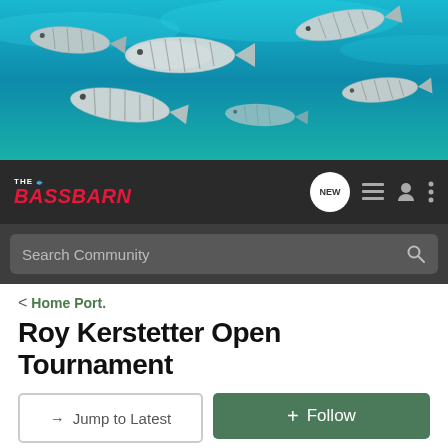[Figure (photo): Underwater photo of a school of striped fish (bass-like) swimming against a teal/cyan background]
THE BASS BARN - Navigation bar with NEW button, list icon, user icon, and menu dots
Search Community
< Home Port.
Roy Kerstetter Open Tournament
→ Jump to Latest
+ Follow
1 - 1 of 1 Posts
seabear · Registered
Joined Apr 5, 2001 · 1,464 Posts